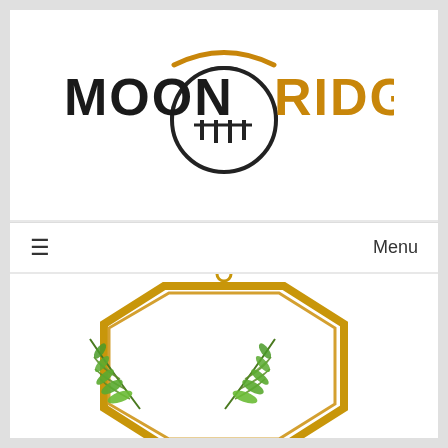[Figure (logo): MoonRidge5 logo with orange arc above and black fence/gate icon below, with text MOON in black and RIDGE5 in golden/amber color]
☰   Menu
[Figure (photo): Gold octagonal hanging frame with fern/plant leaves inside, white background, small ring hanger at top]